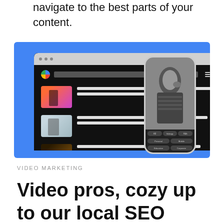navigate to the best parts of your content.
[Figure (screenshot): Screenshot of Google search results page on desktop browser and a phone mockup showing a person with search filter tags, set against a blue background.]
VIDEO MARKETING
Video pros, cozy up to our local SEO guide for bigger